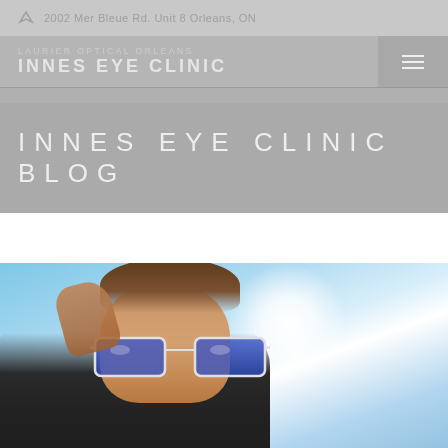2002 Mer Bleue Rd. Unit 8 Orleans, ON
LAURIER OPTICAL ORLEANS
INNES EYE CLINIC
INNES EYE CLINIC BLOG
[Figure (photo): Man wearing blue mirrored sunglasses against a bright blue sky, adjusting glasses with one hand]